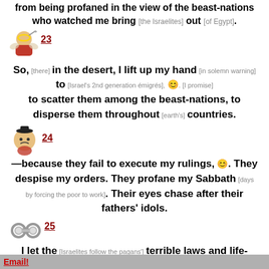from being profaned in the view of the beast-nations who watched me bring [the Israelites] out [of Egypt].
23 So, [there] in the desert, I lift up my hand [in solemn warning] to [Israel's 2nd generation émigrés], 😊. [I promise] to scatter them among the beast-nations, to disperse them throughout [earth's] countries.
24 —because they fail to execute my rulings, 😊. They despise my orders. They profane my Sabbath [days by forcing the poor to work]. Their eyes chase after their fathers' idols.
25 I let the [Israelites follow the pagans'] terrible laws and life-draining customs, 😊.
YHWH never makes bad statutes. He 'gives the wicked apostate Israelites over' to the bad statutes, because they demand bad statutes. Wicked [people] detest YHWH's
Email!